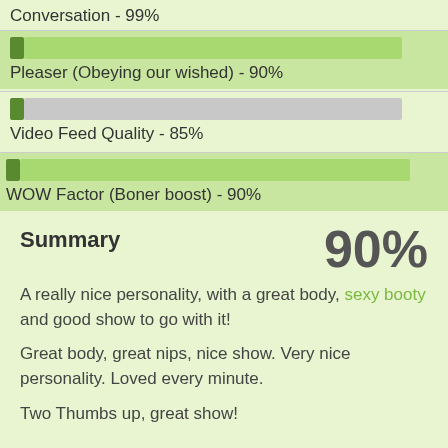Conversation - 99%
[Figure (bar-chart): Pleaser (Obeying our wished)]
[Figure (bar-chart): Video Feed Quality]
[Figure (bar-chart): WOW Factor (Boner boost)]
Summary
90%
A really nice personality, with a great body, sexy booty and good show to go with it!
Great body, great nips, nice show. Very nice personality. Loved every minute.
Two Thumbs up, great show!